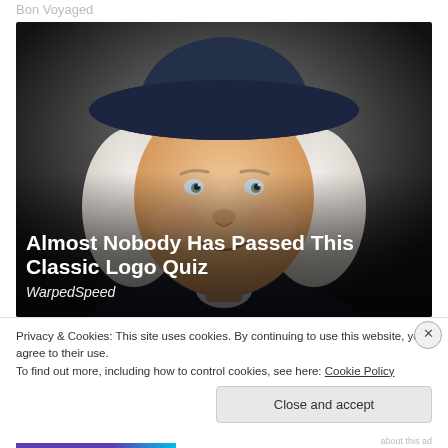Bon Voyaged
[Figure (illustration): Illustrated portrait of a smiling man with white curly hair and a wide-brimmed dark navy hat, wearing a dark colonial-style jacket with white collar, set against a dark gradient background. Resembles the Quaker Oats mascot.]
Almost Nobody Has Passed This Classic Logo Quiz
WarpedSpeed
Privacy & Cookies: This site uses cookies. By continuing to use this website, you agree to their use.
To find out more, including how to control cookies, see here: Cookie Policy
Close and accept